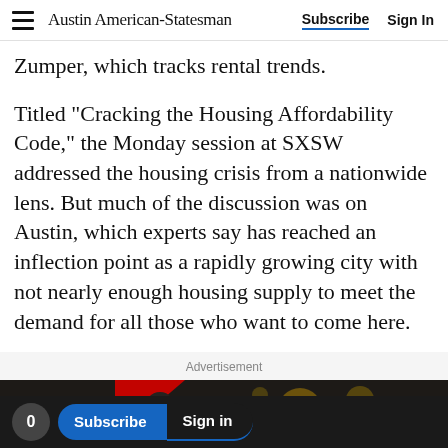Austin American-Statesman | Subscribe | Sign In
Zumper, which tracks rental trends.
Titled "Cracking the Housing Affordability Code," the Monday session at SXSW addressed the housing crisis from a nationwide lens. But much of the discussion was on Austin, which experts say has reached an inflection point as a rapidly growing city with not nearly enough housing supply to meet the demand for all those who want to come here.
Advertisement
[Figure (photo): Advertisement photo showing people at an event with bokeh lighting in background]
0 | Subscribe | Sign in